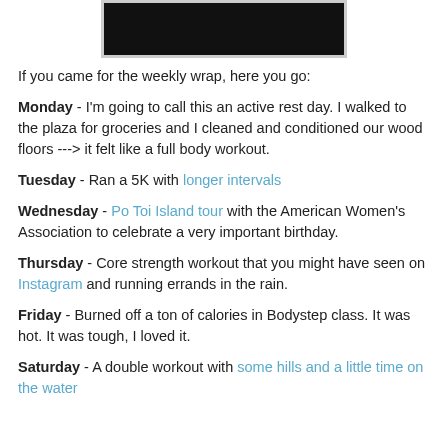[Figure (photo): Dark/black image at top of page, partially visible]
If you came for the weekly wrap, here you go:
Monday - I'm going to call this an active rest day. I walked to the plaza for groceries and I cleaned and conditioned our wood floors ---> it felt like a full body workout.
Tuesday - Ran a 5K with longer intervals
Wednesday - Po Toi Island tour with the American Women's Association to celebrate a very important birthday.
Thursday - Core strength workout that you might have seen on Instagram and running errands in the rain.
Friday - Burned off a ton of calories in Bodystep class. It was hot. It was tough, I loved it.
Saturday - A double workout with some hills and a little time on the water